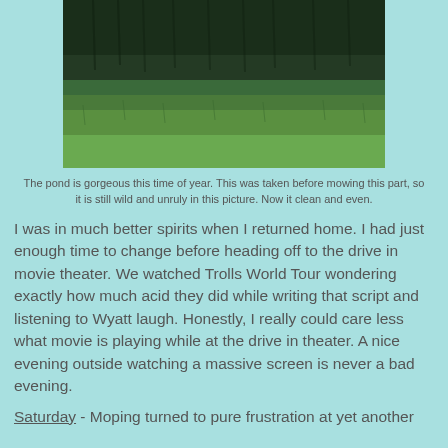[Figure (photo): A green field with tall grass and trees in the background, taken before mowing near a pond.]
The pond is gorgeous this time of year. This was taken before mowing this part, so it is still wild and unruly in this picture. Now it clean and even.
I was in much better spirits when I returned home. I had just enough time to change before heading off to the drive in movie theater. We watched Trolls World Tour wondering exactly how much acid they did while writing that script and listening to Wyatt laugh. Honestly, I really could care less what movie is playing while at the drive in theater. A nice evening outside watching a massive screen is never a bad evening.
Saturday - Moping turned to pure frustration at yet another